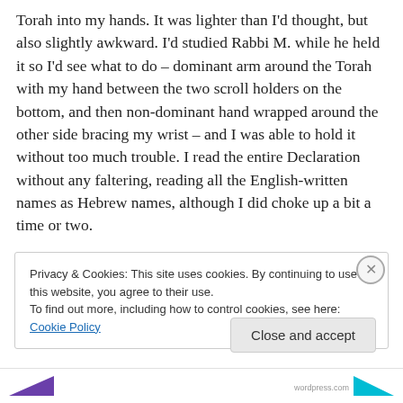Torah into my hands. It was lighter than I'd thought, but also slightly awkward. I'd studied Rabbi M. while he held it so I'd see what to do – dominant arm around the Torah with my hand between the two scroll holders on the bottom, and then non-dominant hand wrapped around the other side bracing my wrist – and I was able to hold it without too much trouble. I read the entire Declaration without any faltering, reading all the English-written names as Hebrew names, although I did choke up a bit a time or two.
Privacy & Cookies: This site uses cookies. By continuing to use this website, you agree to their use.
To find out more, including how to control cookies, see here: Cookie Policy
Close and accept